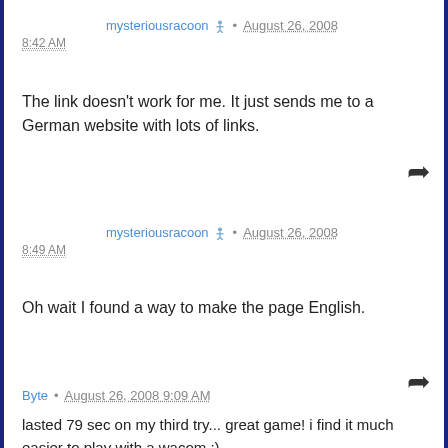mysteriousracoon • August 26, 2008
8:42 AM
The link doesn't work for me. It just sends me to a German website with lots of links.
mysteriousracoon • August 26, 2008
8:49 AM
Oh wait I found a way to make the page English.
Byte • August 26, 2008 9:09 AM
lasted 79 sec on my third try... great game! i find it much easier to play with a wacom :)